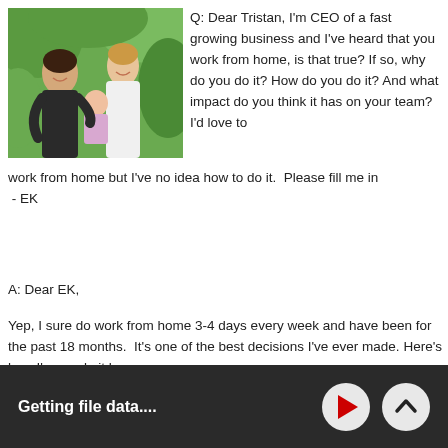[Figure (photo): A smiling man and woman holding a baby outdoors with green foliage background]
Q: Dear Tristan, I'm CEO of a fast growing business and I've heard that you work from home, is that true? If so, why do you do it? How do you do it? And what impact do you think it has on your team?  I'd love to work from home but I've no idea how to do it.  Please fill me in  - EK
A: Dear EK,
Yep, I sure do work from home 3-4 days every week and have been for the past 18 months.  It's one of the best decisions I've ever made. Here's how I've made it happen..
Getting file data....